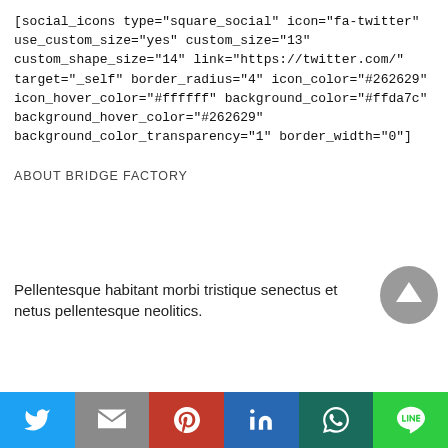[social_icons type="square_social" icon="fa-twitter" use_custom_size="yes" custom_size="13" custom_shape_size="14" link="https://twitter.com/" target="_self" border_radius="4" icon_color="#262629" icon_hover_color="#ffffff" background_color="#ffda7c" background_hover_color="#262629" background_color_transparency="1" border_width="0"]
ABOUT BRIDGE FACTORY
Pellentesque habitant morbi tristique senectus et netus pellentesque neolitics.
[Figure (infographic): Social share bar at bottom with Twitter (blue), Gmail (grey), Pinterest (red), LinkedIn (blue), WhatsApp (dark teal), Line (green) icons]